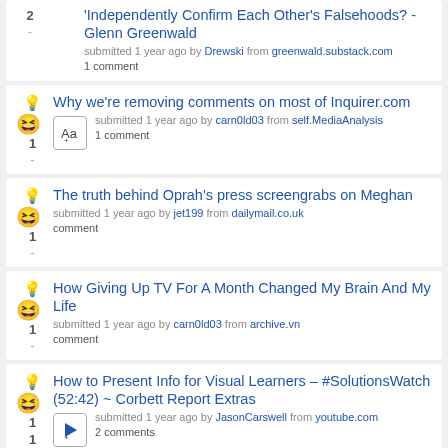Independently Confirm Each Other's Falsehoods? - Glenn Greenwald
submitted 1 year ago by Drewski from greenwald.substack.com
1 comment
Why we're removing comments on most of Inquirer.com
submitted 1 year ago by carn0ld03 from self.MediaAnalysis
1 comment
The truth behind Oprah's press screengrabs on Meghan
submitted 1 year ago by jet199 from dailymail.co.uk
comment
How Giving Up TV For A Month Changed My Brain And My Life
submitted 1 year ago by carn0ld03 from archive.vn
comment
How to Present Info for Visual Learners – #SolutionsWatch (52:42) ~ Corbett Report Extras
submitted 1 year ago by JasonCarswell from youtube.com
2 comments